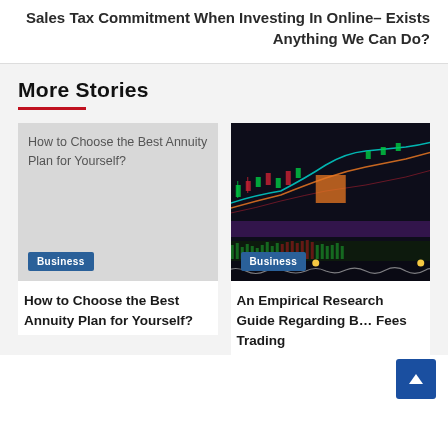Sales Tax Commitment When Investing in Online– Exists Anything We Can Do?
More Stories
[Figure (photo): Broken image placeholder for 'How to Choose the Best Annuity Plan for Yourself?' with gray background and Business badge]
[Figure (screenshot): Dark trading chart screenshot showing candlestick and indicator data with Business badge]
How to Choose the Best Annuity Plan for Yourself?
An Empirical Research Guide Regarding B… Fees Trading